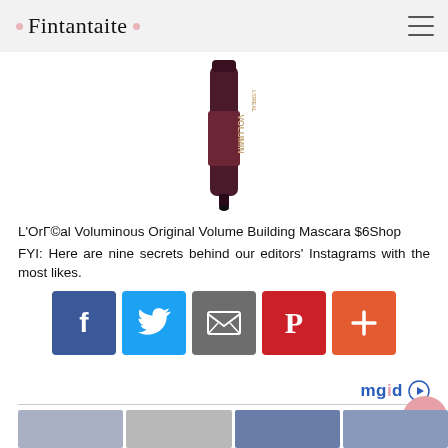· Fintantaite ·
[Figure (photo): L'Oreal Voluminous mascara tube, dark maroon/wine colored, vertical orientation]
L'OrГ©al Voluminous Original Volume Building Mascara $6Shop
FYI: Here are nine secrets behind our editors' Instagrams with the most likes.
[Figure (infographic): Social sharing buttons row: Facebook (blue), Twitter (light blue), Email (gray), Pinterest (red), More/Plus (orange-red)]
[Figure (logo): mgid logo with play button icon]
[Figure (photo): Row of thumbnail images at bottom of page]